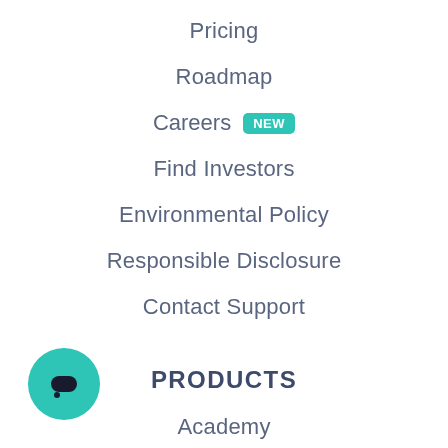Pricing
Roadmap
Careers NEW
Find Investors
Environmental Policy
Responsible Disclosure
Contact Support
PRODUCTS
Academy
Research
Build Projects
Metaverse SDK
Plugins
[Figure (illustration): Teal circular chat button with chat bubble icon at bottom left corner]